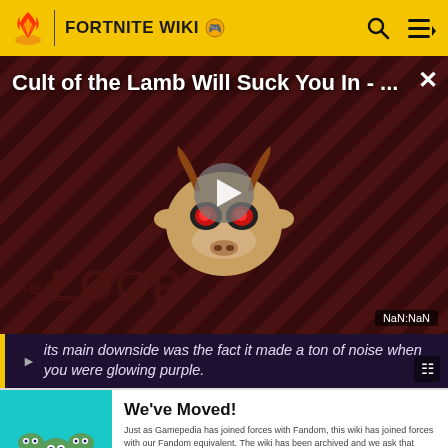FORTNITE WIKI
[Figure (screenshot): Video thumbnail overlay for 'Cult of the Lamb Will Suck You In - ...' with a cartoon character, diagonal stripe background, play button, 'THE LOOP' text watermark, and NaN:NaN time badge]
Its main downside was the fact it made a ton of noise when you were glowing purple.
[Figure (illustration): We've Moved! banner — teal background with cartoon three-headed snake creature illustration, text explaining Gamepedia joined Fandom and wiki has moved, with 'GO TO NEW WIKI' button]